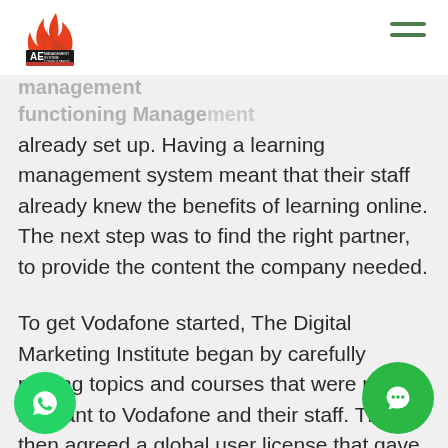[Figure (logo): AE Management System Consultants logo with flame icon]
already set up. Having a learning management system meant that their staff already knew the benefits of learning online. The next step was to find the right partner, to provide the content the company needed.
To get Vodafone started, The Digital Marketing Institute began by carefully picking topics and courses that were most relevant to Vodafone and their staff. They then agreed a global user license that gave Vodafone's staff access to 15 of the DMI modules. Their staff could choose from modules in the Professional Diploma in Digital Marketing and from the Specialist Dip...